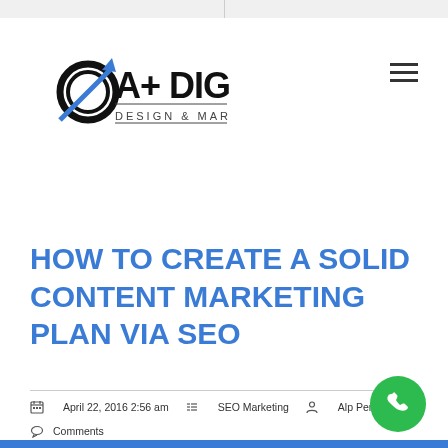A+ Digital Design & Marketing
HOW TO CREATE A SOLID CONTENT MARKETING PLAN VIA SEO
April 22, 2016 2:56 am  SEO Marketing  Alp Perez  Comments